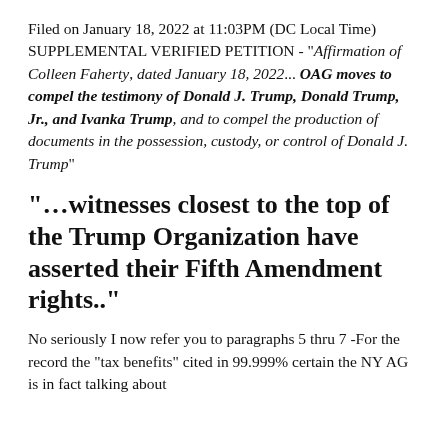Filed on January 18, 2022 at 11:03PM (DC Local Time) SUPPLEMENTAL VERIFIED PETITION - "Affirmation of Colleen Faherty, dated January 18, 2022... OAG moves to compel the testimony of Donald J. Trump, Donald Trump, Jr., and Ivanka Trump, and to compel the production of documents in the possession, custody, or control of Donald J. Trump"
“…witnesses closest to the top of the Trump Organization have asserted their Fifth Amendment rights..”
No seriously I now refer you to paragraphs 5 thru 7 -For the record the “tax benefits” cited in 99.999% certain the NY AG is in fact talking about